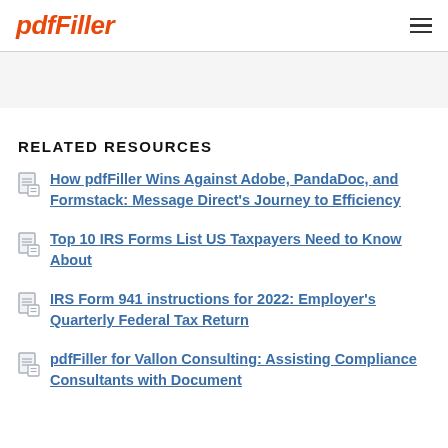pdfFiller
RELATED RESOURCES
How pdfFiller Wins Against Adobe, PandaDoc, and Formstack: Message Direct’s Journey to Efficiency
Top 10 IRS Forms List US Taxpayers Need to Know About
IRS Form 941 instructions for 2022: Employer’s Quarterly Federal Tax Return
pdfFiller for Vallon Consulting: Assisting Compliance Consultants with Document